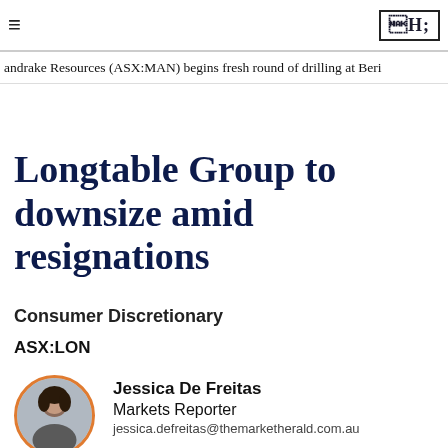≡  ℍ
andrake Resources (ASX:MAN) begins fresh round of drilling at Beri
Longtable Group to downsize amid resignations
Consumer Discretionary
ASX:LON
Jessica De Freitas
Markets Reporter
jessica.defreitas@themarketherald.com.au